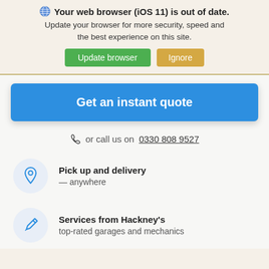Your web browser (iOS 11) is out of date. Update your browser for more security, speed and the best experience on this site.
Update browser | Ignore
Get an instant quote
or call us on 0330 808 9527
Pick up and delivery — anywhere
Services from Hackney's top-rated garages and mechanics